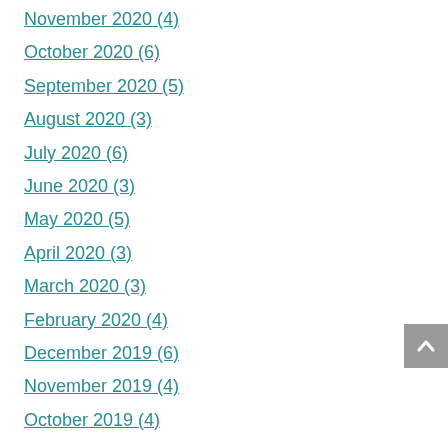November 2020 (4)
October 2020 (6)
September 2020 (5)
August 2020 (3)
July 2020 (6)
June 2020 (3)
May 2020 (5)
April 2020 (3)
March 2020 (3)
February 2020 (4)
December 2019 (6)
November 2019 (4)
October 2019 (4)